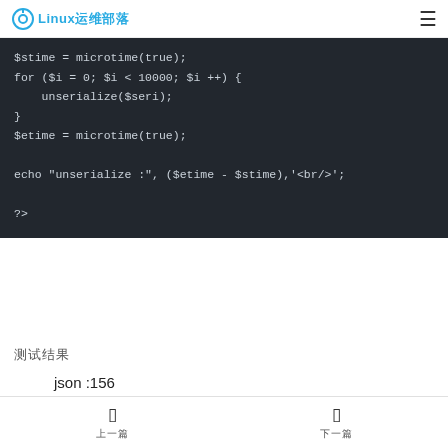Linux运维部落
[Figure (screenshot): PHP code block on dark background showing: $stime = microtime(true); for ($i = 0; $i < 10000; $i ++) { unserialize($seri); } $etime = microtime(true); echo "unserialize :", ($etime - $stime),'<br/>'; ?>]
测试结果
json :156
serialize :222
json_encode :0.1087498664856
上一篇  下一篇